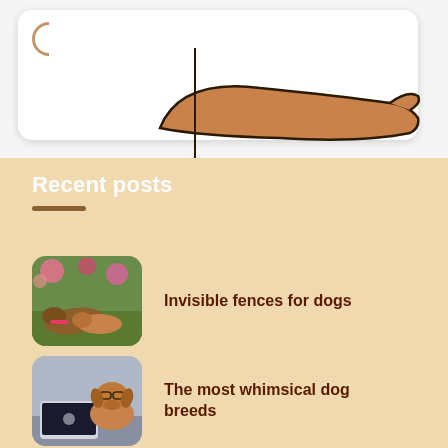[Figure (illustration): Top section showing a white card with a brown arc/circle and a cartoon dog illustration (brown dachshund body) visible at the bottom of the section]
Recent posts
[Figure (photo): Photo of two dogs lying together on grass near flowers]
Invisible fences for dogs
[Figure (photo): Photo of a dog wearing glasses sitting in front of a laptop computer]
The most whimsical dog breeds